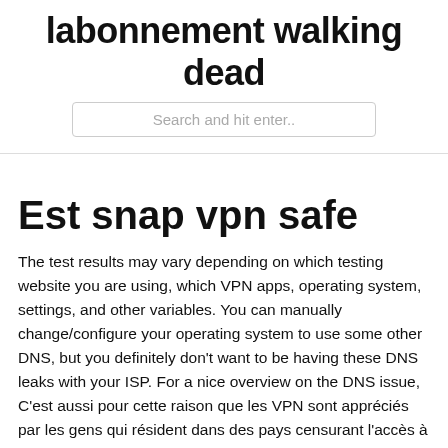labonnement walking dead
Search and hit enter..
Est snap vpn safe
The test results may vary depending on which testing website you are using, which VPN apps, operating system, settings, and other variables. You can manually change/configure your operating system to use some other DNS, but you definitely don't want to be having these DNS leaks with your ISP. For a nice overview on the DNS issue, C'est aussi pour cette raison que les VPN sont appréciés par les gens qui résident dans des pays censurant l'accès à certains sites web. Le VPN vous permettra également d'utiliser vos applications et vos sites web favoris où que vous vous trouviez dans le monde, exactement comme si vous étiez chez vous. SNAP'n SAFE breakaway sign posts and breakaway sign post couplers are